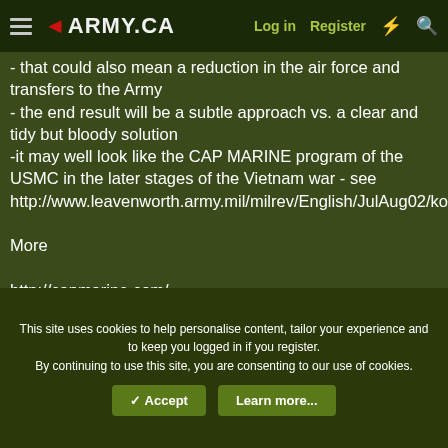◄ARMY.CA  Log in  Register
- that could also mean a reduction in the air force and transfers to the Army
- the end result will be a subtle approach vs. a clear and tidy but bloody solution
-it may well look like the CAP MARINE program of the USMC in the later stages of the Vietnam war - see http://www.leavenworth.army.mil/milrev/English/JulAug02/kopets.htm

More

http://capmarine.com/ ------
http://www.thehistorynet.com/vn/blcap/index1.html --------
This site uses cookies to help personalise content, tailor your experience and to keep you logged in if you register.
By continuing to use this site, you are consenting to our use of cookies.